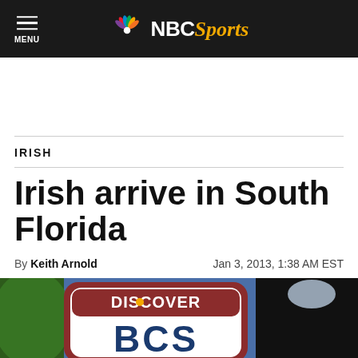MENU | NBC Sports
IRISH
Irish arrive in South Florida
By Keith Arnold    Jan 3, 2013, 1:38 AM EST
[Figure (photo): Discover BCS logo/signage on a vehicle or surface, outdoors with sky visible]